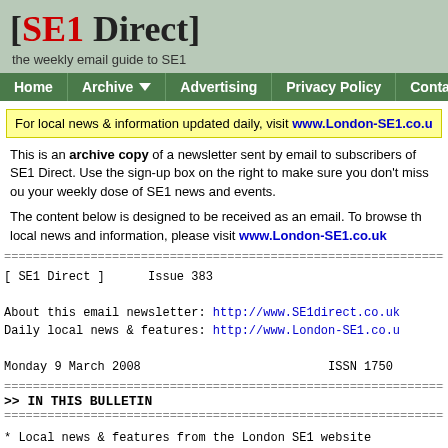[SE1 Direct] the weekly email guide to SE1
Home | Archive | Advertising | Privacy Policy | Contact Us
For local news & information updated daily, visit www.London-SE1.co.uk
This is an archive copy of a newsletter sent by email to subscribers of SE1 Direct. Use the sign-up box on the right to make sure you don't miss out on your weekly dose of SE1 news and events.
The content below is designed to be received as an email. To browse the local news and information, please visit www.London-SE1.co.uk
[ SE1 Direct ]      Issue 383

About this email newsletter: http://www.SE1direct.co.uk
Daily local news & features: http://www.London-SE1.co.uk

Monday 9 March 2008                              ISSN 1750
>> IN THIS BULLETIN
* Local news & features from the London SE1 website
* Adverts, VAT, Burrell and Problems in